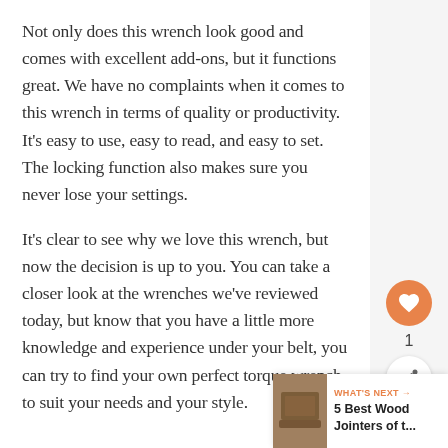Not only does this wrench look good and comes with excellent add-ons, but it functions great. We have no complaints when it comes to this wrench in terms of quality or productivity. It's easy to use, easy to read, and easy to set. The locking function also makes sure you never lose your settings.
It's clear to see why we love this wrench, but now the decision is up to you. You can take a closer look at the wrenches we've reviewed today, but know that you have a little more knowledge and experience under your belt, you can try to find your own perfect torque wrench to suit your needs and your style.
[Figure (infographic): Orange circular heart/favorite button, count of 1, and a white circular share button in the right sidebar]
[Figure (infographic): What's Next banner at bottom right showing '5 Best Wood Jointers of t...' with a thumbnail image]